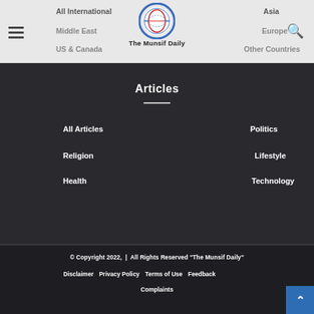All International  Asia  Middle East  Europe  US & Canada  Other Countries
[Figure (logo): The Munsif Daily logo: circular emblem with globe and laurel wreath motif in blue and red, with text 'The Munsif Daily' below]
Articles
All Articles
Politics
Religion
Lifestyle
Health
Technology
© Copyright 2022,  |  All Rights Reserved "The Munsif Daily"
Disclaimer  Privacy Policy  Terms of Use  Feedback  Complaints